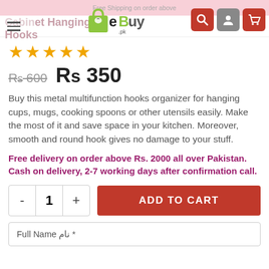Cup Mug Holder Under Cabinet Hanging Hooks
★★★★★
Rs 600  Rs 350
Buy this metal multifunction hooks organizer for hanging cups, mugs, cooking spoons or other utensils easily. Make the most of it and save space in your kitchen. Moreover, smooth and round hook gives no damage to your stuff.
Free delivery on order above Rs. 2000 all over Pakistan. Cash on delivery, 2-7 working days after confirmation call.
- 1 +  ADD TO CART
Full Name نام *